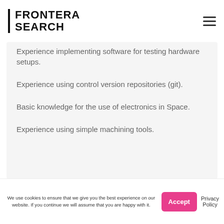FRONTERA SEARCH
Experience implementing software for testing hardware setups.
Experience using control version repositories (git).
Basic knowledge for the use of electronics in Space.
Experience using simple machining tools.
We use cookies to ensure that we give you the best experience on our website. If you continue we will assume that you are happy with it.
Accept
Privacy Policy